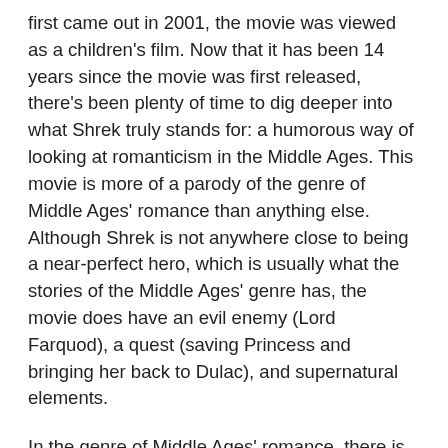first came out in 2001, the movie was viewed as a children's film. Now that it has been 14 years since the movie was first released, there's been plenty of time to dig deeper into what Shrek truly stands for: a humorous way of looking at romanticism in the Middle Ages. This movie is more of a parody of the genre of Middle Ages' romance than anything else.  Although Shrek is not anywhere close to being a near-perfect hero, which is usually what the stories of the Middle Ages' genre has, the movie does have an evil enemy (Lord Farquod), a quest (saving Princess and bringing her back to Dulac), and supernatural elements.
In the genre of Middle Ages' romance, there is always a big, strong, evil enemy. Lord Farquod goes against expectation by being small and weak, but he is still an evil enemy. When some fairytale creatures were sent to Shrek's swamp by Lord Farquod, Shrek goes on a journey to ask Farquod to take the fairytale creatures off of his land. When Farquod makes Shrek go on a list of quests, one starts seeing the bad side of Lord